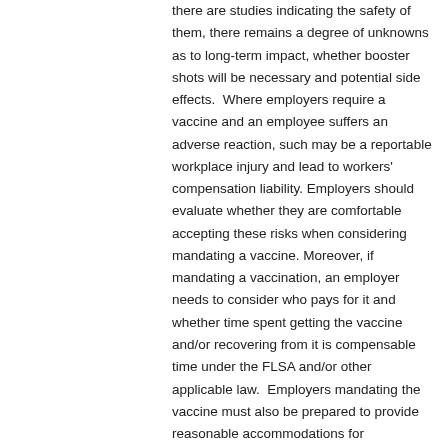there are studies indicating the safety of them, there remains a degree of unknowns as to long-term impact, whether booster shots will be necessary and potential side effects.  Where employers require a vaccine and an employee suffers an adverse reaction, such may be a reportable workplace injury and lead to workers' compensation liability. Employers should evaluate whether they are comfortable accepting these risks when considering mandating a vaccine. Moreover, if mandating a vaccination, an employer needs to consider who pays for it and whether time spent getting the vaccine and/or recovering from it is compensable time under the FLSA and/or other applicable law.  Employers mandating the vaccine must also be prepared to provide reasonable accommodations for